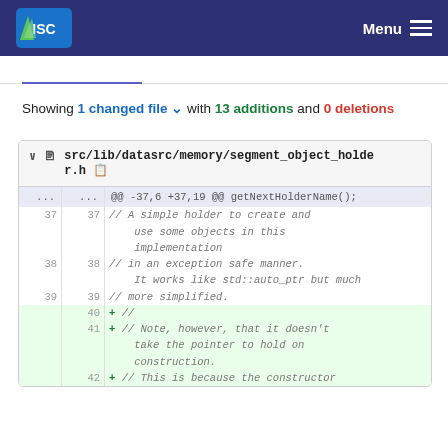ISC | Menu
Showing 1 changed file with 13 additions and 0 deletions
| old | new | code |
| --- | --- | --- |
| ... | ... | @@ -37,6 +37,19 @@ getNextHolderName(); |
| 37 | 37 | // A simple holder to create and use some objects in this implementation |
| 38 | 38 | // in an exception safe manner. It works like std::auto_ptr but much |
| 39 | 39 | // more simplified. |
|  | 40 | + // |
|  | 41 | + // Note, however, that it doesn't take the pointer to hold on construction. |
|  | 42 | + // This is because the constructor |